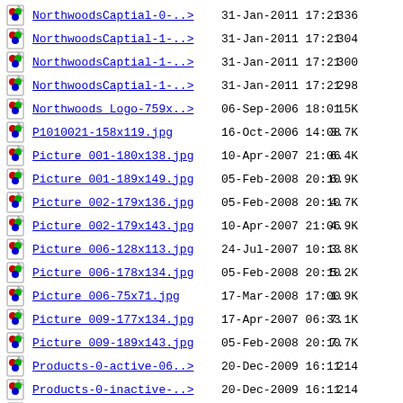NorthwoodsCaptial-0-..>  31-Jan-2011 17:21  336
NorthwoodsCaptial-1-..>  31-Jan-2011 17:21  304
NorthwoodsCaptial-1-..>  31-Jan-2011 17:21  300
NorthwoodsCaptial-1-..>  31-Jan-2011 17:21  298
Northwoods Logo-759x..>  06-Sep-2006 18:01  15K
P1010021-158x119.jpg  16-Oct-2006 14:08  3.7K
Picture 001-180x138.jpg  10-Apr-2007 21:06  6.4K
Picture 001-189x149.jpg  05-Feb-2008 20:10  6.9K
Picture 002-179x136.jpg  05-Feb-2008 20:10  4.7K
Picture 002-179x143.jpg  10-Apr-2007 21:06  4.9K
Picture 006-128x113.jpg  24-Jul-2007 10:13  3.8K
Picture 006-178x134.jpg  05-Feb-2008 20:10  5.2K
Picture 006-75x71.jpg  17-Mar-2008 17:00  1.9K
Picture 009-177x134.jpg  17-Apr-2007 06:33  7.1K
Picture 009-189x143.jpg  05-Feb-2008 20:10  7.7K
Products-0-active-06..>  20-Dec-2009 16:11  214
Products-0-inactive-..>  20-Dec-2009 16:11  214